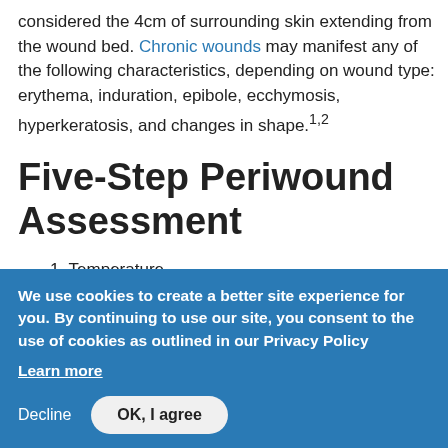considered the 4cm of surrounding skin extending from the wound bed. Chronic wounds may manifest any of the following characteristics, depending on wound type: erythema, induration, epibole, ecchymosis, hyperkeratosis, and changes in shape.1,2
Five-Step Periwound Assessment
1. Temperature
2. Location
3. Sh...
We use cookies to create a better site experience for you. By continuing to use our site, you consent to the use of cookies as outlined in our Privacy Policy
Learn more
Decline  OK, I agree